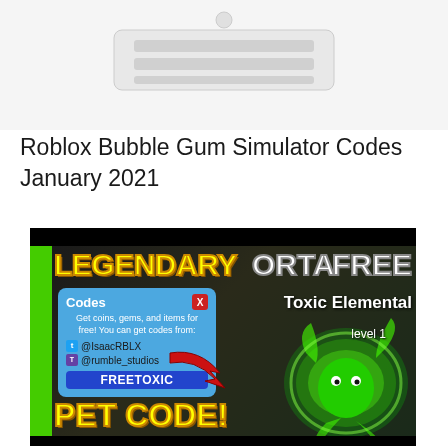[Figure (photo): Partial image of a device (likely a game console or router) visible at top of page, white background]
Roblox Bubble Gum Simulator Codes January 2021
[Figure (screenshot): Roblox Bubble Gum Simulator game screenshot showing 'LEGENDARY FREE PET CODE!' text in yellow, a blue Codes dialog box with FREETOXIC code, social handles @IsaacRBLX and @rumble_studios, a red arrow pointing to a green Toxic Elemental pet creature]